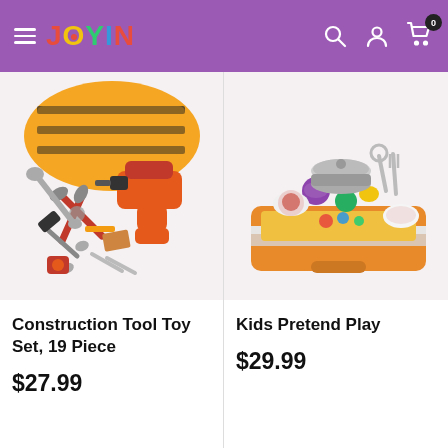JOYIN - navigation header with search, account, and cart icons
[Figure (photo): Construction Tool Toy Set product photo showing orange drill, pliers, hammer, screwdrivers, wrenches, bolts and tool bag]
Construction Tool Toy Set, 19 Piece
$27.99
[Figure (photo): Kids Pretend Play kitchen/food set product photo showing toy foods, plates, pots on yellow and orange case]
Kids Pretend Play
$29.99